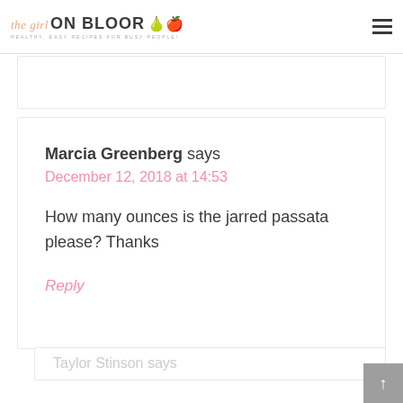the girl ON BLOOR — HEALTHY, EASY RECIPES FOR BUSY PEOPLE!
Marcia Greenberg says
December 12, 2018 at 14:53
How many ounces is the jarred passata please? Thanks
Reply
Taylor Stinson says